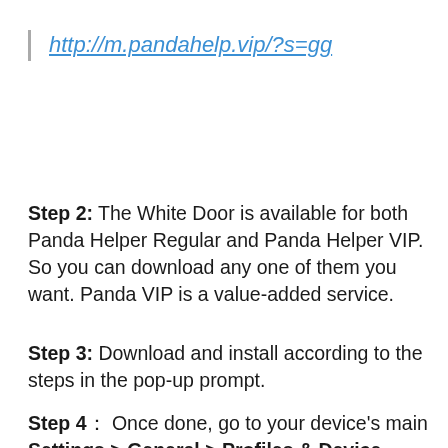http://m.pandahelp.vip/?s=gg
Step 2: The White Door is available for both Panda Helper Regular and Panda Helper VIP. So you can download any one of them you want. Panda VIP is a value-added service.
Step 3: Download and install according to the steps in the pop-up prompt.
Step 4： Once done, go to your device's main Settings > General > Profiles & Device Management and trust the profile that belongs to the Panda Helper app.